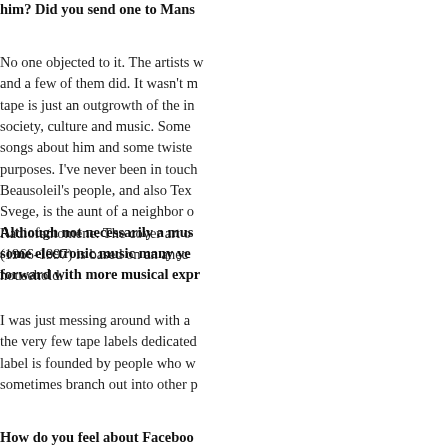him? Did you send one to Mans
No one objected to it. The artists w and a few of them did. It wasn't m tape is just an outgrowth of the in society, culture and music. Some songs about him and some twiste purposes. I've never been in touch Beausoleil's people, and also Tex Svege, is the aunt of a neighbor o Radiofantomene. The cover art o (1966-1997) is based on an anec household.
Although not necessarily a mus some electronic music many ye forward with more musical expr
I was just messing around with a the very few tape labels dedicated label is founded by people who w sometimes branch out into other p
How do you feel about Faceboo